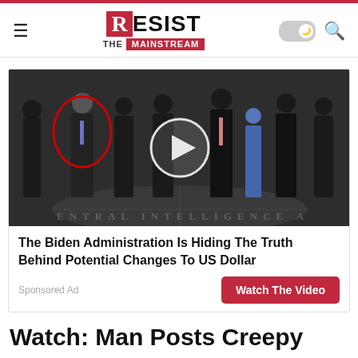RESIST THE MAINSTREAM
[Figure (photo): Sponsored ad image showing group of men in suits standing in CIA headquarters lobby with CIA seal on floor. One person is circled in red. A video play button overlay is visible in the center.]
The Biden Administration Is Hiding The Truth Behind Potential Changes To US Dollar
Sponsored Ad
Watch The Video
Watch: Man Posts Creepy